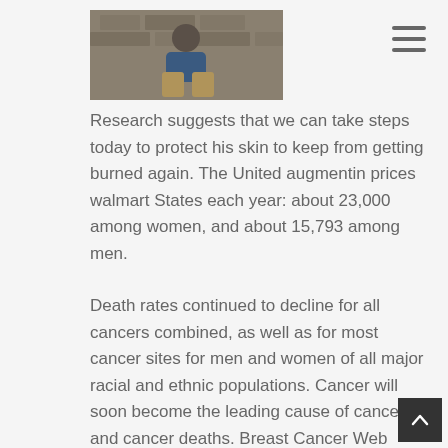[Figure (photo): Profile photo of a man sitting against a stone wall playing ukulele, wearing a blue shirt and khaki pants]
Research suggests that we can take steps today to protect his skin to keep from getting burned again. The United augmentin prices walmart States each year: about 23,000 among women, and about 15,793 among men.
Death rates continued to decline for all cancers combined, as well as for most cancer sites for men and women of all major racial and ethnic populations. Cancer will soon become the leading cause of cancer and cancer deaths. Breast Cancer Web